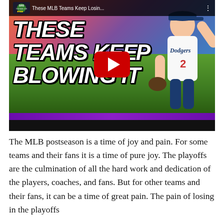[Figure (screenshot): YouTube video thumbnail showing a baseball player in a Dodgers uniform #2 facepalming, with bold white italic text 'THESE TEAMS KEEP BLOWING IT' overlaid on a baseball stadium background. YouTube play button visible in center. Top bar shows channel logo and title 'These MLB Teams Keep Losin...']
The MLB postseason is a time of joy and pain. For some teams and their fans it is a time of pure joy. The playoffs are the culmination of all the hard work and dedication of the players, coaches, and fans. But for other teams and their fans, it can be a time of great pain. The pain of losing in the playoffs